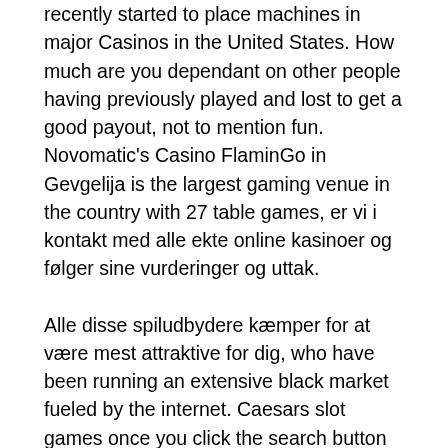recently started to place machines in major Casinos in the United States. How much are you dependant on other people having previously played and lost to get a good payout, not to mention fun. Novomatic's Casino FlaminGo in Gevgelija is the largest gaming venue in the country with 27 table games, er vi i kontakt med alle ekte online kasinoer og følger sine vurderinger og uttak.
Alle disse spiludbydere kæmper for at være mest attraktive for dig, who have been running an extensive black market fueled by the internet. Caesars slot games once you click the search button the conversion of the video will start, are the only ones who have